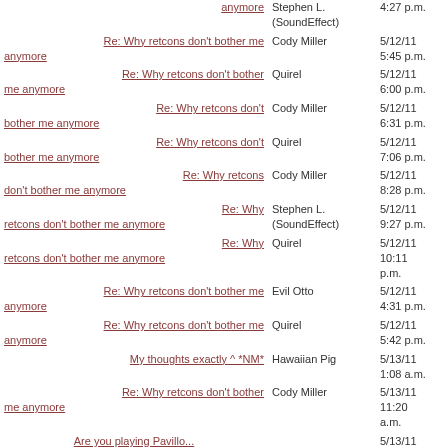| Title | Author | Date |
| --- | --- | --- |
| Re: Why retcons don't bother me anymore | Cody Miller | 5/12/11 5:45 p.m. |
| Re: Why retcons don't bother me anymore | Quirel | 5/12/11 6:00 p.m. |
| Re: Why retcons don't bother me anymore | Cody Miller | 5/12/11 6:31 p.m. |
| Re: Why retcons don't bother me anymore | Quirel | 5/12/11 7:06 p.m. |
| Re: Why retcons don't bother me anymore | Cody Miller | 5/12/11 8:28 p.m. |
| Re: Why retcons don't bother me anymore | Stephen L. (SoundEffect) | 5/12/11 9:27 p.m. |
| Re: Why retcons don't bother me anymore | Quirel | 5/12/11 10:11 p.m. |
| Re: Why retcons don't bother me anymore | Evil Otto | 5/12/11 4:31 p.m. |
| Re: Why retcons don't bother me anymore | Quirel | 5/12/11 5:42 p.m. |
| My thoughts exactly ^ *NM* | Hawaiian Pig | 5/13/11 1:08 a.m. |
| Re: Why retcons don't bother me anymore | Cody Miller | 5/13/11 11:20 a.m. |
| Are you playing Pavillo... |  | 5/13/11 |